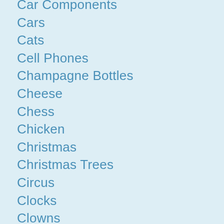Car Components
Cars
Cats
Cell Phones
Champagne Bottles
Cheese
Chess
Chicken
Christmas
Christmas Trees
Circus
Clocks
Clowns
Compasses
Computer
Construction Sites
Cooks
Counter
Cows
Crabs
Crocodiles